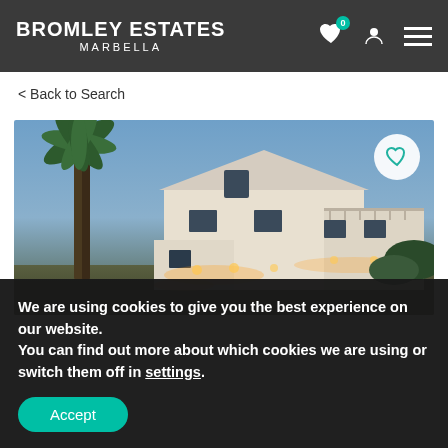BROMLEY ESTATES MARBELLA
< Back to Search
[Figure (photo): Exterior photo of a large white villa with palm trees in the foreground, illuminated with warm lights at dusk, with blue sky background.]
We are using cookies to give you the best experience on our website.
You can find out more about which cookies we are using or switch them off in settings.
Accept